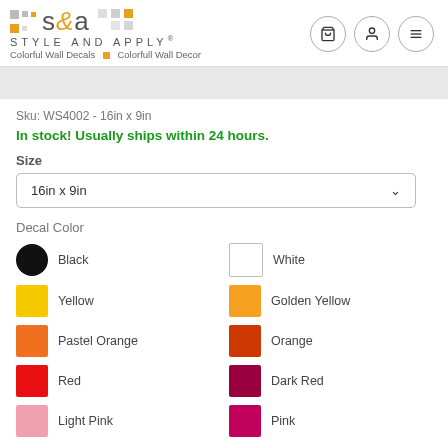[Figure (logo): Style and Apply brand logo with colorful squares, S&A text, brand name and tagline]
Sku: WS4002 - 16in x 9in
In stock! Usually ships within 24 hours.
Size
16in x 9in
Decal Color
Black
White
Yellow
Golden Yellow
Pastel Orange
Orange
Red
Dark Red
Light Pink
Pink